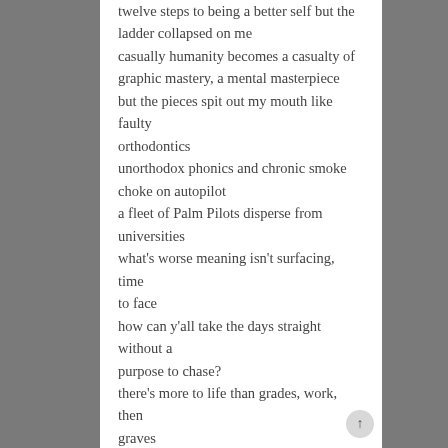twelve steps to being a better self but the ladder collapsed on me casually humanity becomes a casualty of graphic mastery, a mental masterpiece but the pieces spit out my mouth like faulty orthodontics unorthodox phonics and chronic smoke choke on autopilot a fleet of Palm Pilots disperse from universities what's worse meaning isn't surfacing, time to face how can y'all take the days straight without a purpose to chase? there's more to life than grades, work, then graves

Put the tape in the tape deck
Yo put the tape in the tape deck
(My life, my life, my life's a fucking mess